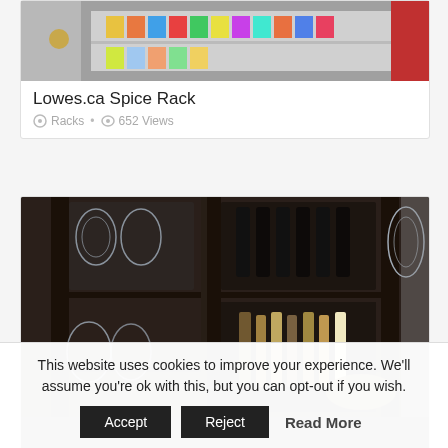[Figure (photo): Photo of a spice rack with colorful spice containers on shelves, partially cut off at top]
Lowes.ca Spice Rack
Racks • 652 Views
[Figure (photo): Dark wood wine cellar rack with wine bottles on upper shelves and liquor bottles on lower shelves, glass stemware visible on sides]
Costco Wine Cellar Racks
This website uses cookies to improve your experience. We'll assume you're ok with this, but you can opt-out if you wish.
Accept  Reject  Read More